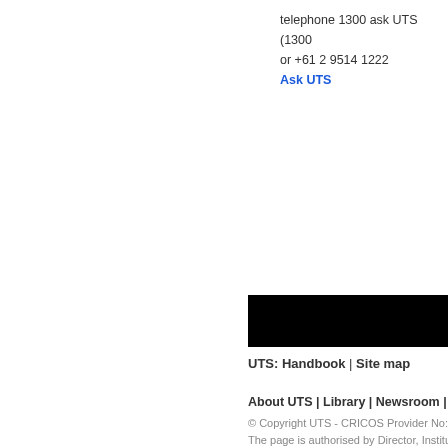telephone 1300 ask UTS (1300
or +61 2 9514 1222
Ask UTS
[Figure (other): Black navigation bar]
UTS: Handbook | Site map
About UTS | Library | Newsroom | Staff |
© Copyright UTS - CRICOS Provider No: 00
The page is authorised by Director, Institute
Send comments to APO
Disclaimer | Privacy | Copyright | Accessibili